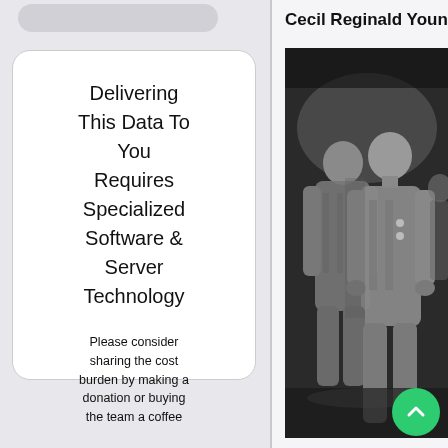Cecil Reginald Young and 615 Squa
Delivering This Data To You Requires Specialized Software & Server Technology
Please consider sharing the cost burden by making a donation or buying the team a coffee
Click  for Donation Options
[Figure (photo): Black and white photograph of two men in military flight suits standing together outdoors]